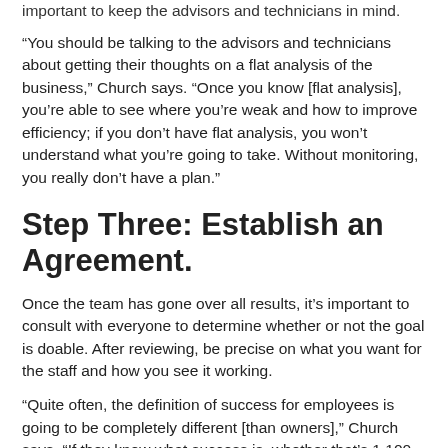important to keep the advisors and technicians in mind.
“You should be talking to the advisors and technicians about getting their thoughts on a flat analysis of the business,” Church says. “Once you know [flat analysis], you’re able to see where you’re weak and how to improve efficiency; if you don’t have flat analysis, you won’t understand what you’re going to take. Without monitoring, you really don’t have a plan.”
Step Three: Establish an Agreement.
Once the team has gone over all results, it’s important to consult with everyone to determine whether or not the goal is doable. After reviewing, be precise on what you want for the staff and how you see it working.
“Quite often, the definition of success for employees is going to be completely different [than owners],” Church says. “If they know what success is, whether that’s 1,100 hours sold